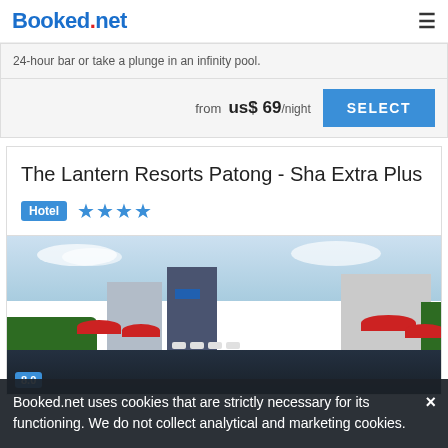Booked.net
24-hour bar or take a plunge in an infinity pool.
from  us$ 69/night
The Lantern Resorts Patong - Sha Extra Plus
Hotel ★★★★
[Figure (photo): Exterior photo of The Lantern Resorts Patong showing a rooftop pool area with red umbrellas, sun loungers, surrounding buildings and greenery against a cloudy sky.]
Booked.net uses cookies that are strictly necessary for its functioning. We do not collect analytical and marketing cookies.